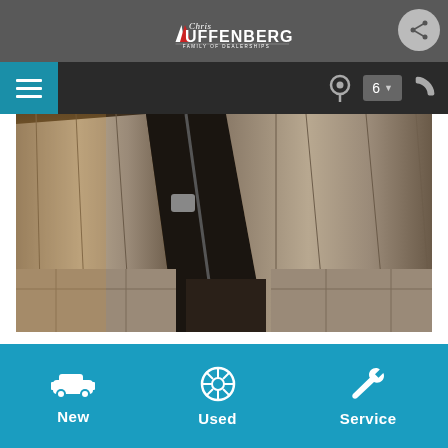Chris Auffenberg Family of Dealerships
[Figure (screenshot): Navigation bar with hamburger menu icon on left (teal background), location pin icon, '6' dropdown badge, and phone icon on right (dark background)]
[Figure (photo): Car interior showing dark leather rear seats with silver/gray fabric accents, warm lighting from left side]
[Figure (photo): Partial view of two small photos showing dealership interior and car exterior, partially visible at bottom]
[Figure (infographic): Blue bottom navigation bar with three icons and labels: car icon (New), steering wheel icon (Used), wrench icon (Service)]